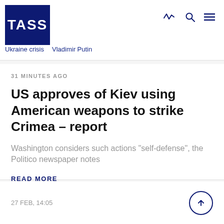TASS | Ukraine crisis  Vladimir Putin
31 MINUTES AGO
US approves of Kiev using American weapons to strike Crimea – report
Washington considers such actions "self-defense", the Politico newspaper notes
READ MORE
27 FEB, 14:05